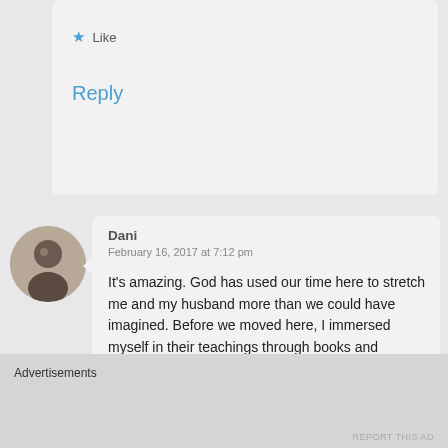★ Like
Reply
[Figure (photo): Circular avatar photo of a person (Dani), small profile picture]
Dani
February 16, 2017 at 7:12 pm
It's amazing. God has used our time here to stretch me and my husband more than we could have imagined. Before we moved here, I immersed myself in their teachings through books and preaching (bethel tv). Continuing
Advertisements